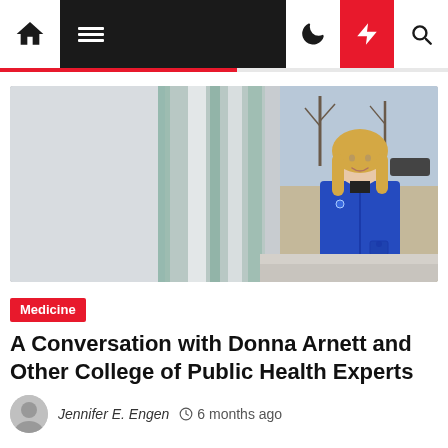[Figure (screenshot): Website navigation bar with home icon, hamburger menu, dark mode toggle, lightning/breaking news button (red), and search icon]
[Figure (photo): Professional woman with blonde hair wearing a bright blue blazer/coat, standing in front of a glass building exterior, smiling at the camera]
Medicine
A Conversation with Donna Arnett and Other College of Public Health Experts
Jennifer E. Engen  6 months ago